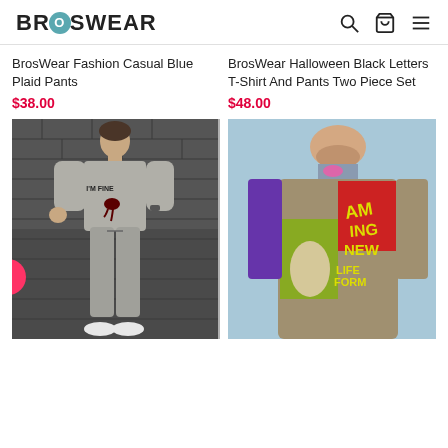BROSWEAR
BrosWear Fashion Casual Blue Plaid Pants
$38.00
BrosWear Halloween Black Letters T-Shirt And Pants Two Piece Set
$48.00
[Figure (photo): Man wearing a gray 'I'M FINE' sweatshirt with blood splatter graphic and gray jogger pants, white sneakers, standing in front of a dark brick wall]
[Figure (photo): Man wearing a colorful comic book print blazer with bold text 'AMAZING NEW LIFE FORM' and comic book character graphics, standing in front of a light blue wall]